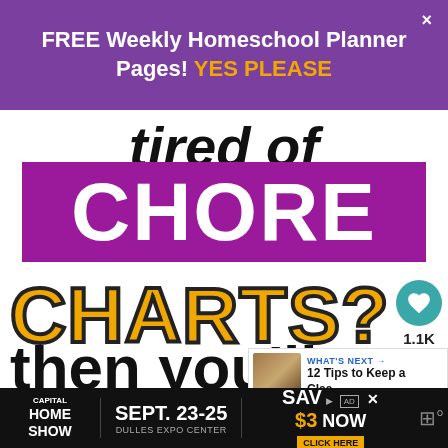FREE Weekly Homeschool Planner Pages! YES PLEASE
[Figure (illustration): Promotional image with text layers: 'tired of' in italic black, 'CHORE' in white on purple background, 'CHARTS?' in gold/yellow with black outline, 'then you’ll' in bold black, 'LOVE this' in bold black with cursive 'this']
1.1K
WHAT’S NEXT → 12 Tips to Keep a Clea...
CAPITAL HOME SHOW SEPT. 23-25 DULLES EXPO CENTER SAV $3 NOW CLICK HERE